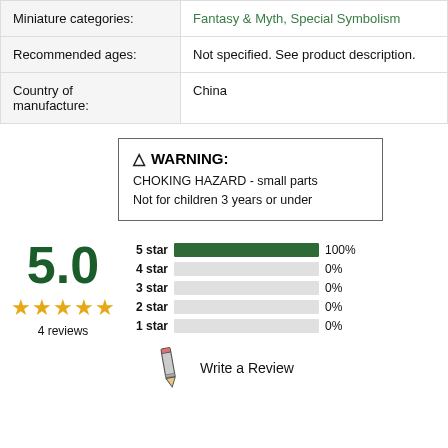| Miniature categories: | Fantasy & Myth, Special Symbolism |
| Recommended ages: | Not specified. See product description. |
| Country of manufacture: | China |
⚠ WARNING:
CHOKING HAZARD - small parts
Not for children 3 years or under
[Figure (bar-chart): Customer Reviews]
5.0
4 reviews
Write a Review